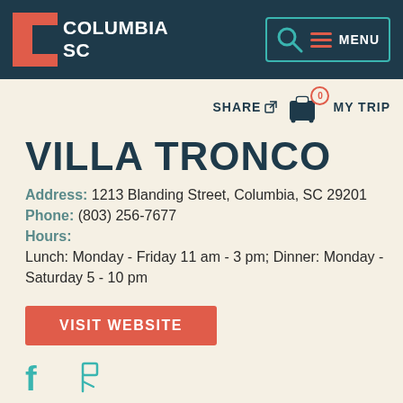COLUMBIA SC | MENU
SHARE | MY TRIP 0
VILLA TRONCO
Address: 1213 Blanding Street, Columbia, SC 29201
Phone: (803) 256-7677
Hours:
Lunch: Monday - Friday 11 am - 3 pm; Dinner: Monday - Saturday 5 - 10 pm
VISIT WEBSITE
[Figure (illustration): Facebook and Foursquare social media icons in teal color]